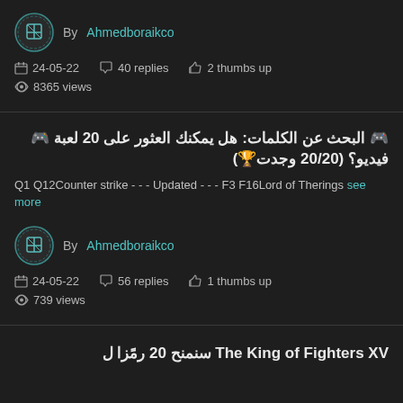By Ahmedboraikco
24-05-22   40 replies   2 thumbs up   8365 views
البحث عن الكلمات: هل يمكنك العثور على 20 لعبة فيديو؟ (20/20 وجدت)
Q1 Q12Counter strike - - - Updated - - - F3 F16Lord of Therings see more
By Ahmedboraikco
24-05-22   56 replies   1 thumbs up   739 views
The King of Fighters XV سنمنح 20 رمًزا ل